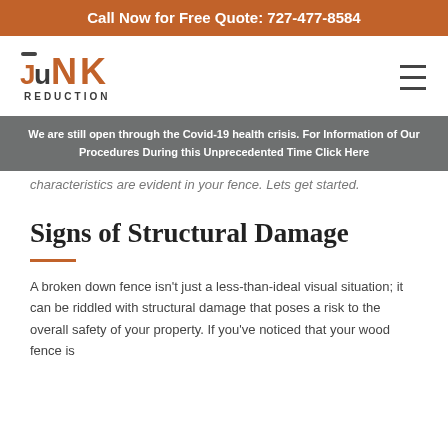Call Now for Free Quote: 727-477-8584
[Figure (logo): Junk Reduction company logo with stylized text and hamburger menu icon]
We are still open through the Covid-19 health crisis. For Information of Our Procedures During this Unprecedented Time Click Here
characteristics are evident in your fence. Lets get started.
Signs of Structural Damage
A broken down fence isn't just a less-than-ideal visual situation; it can be riddled with structural damage that poses a risk to the overall safety of your property. If you've noticed that your wood fence is